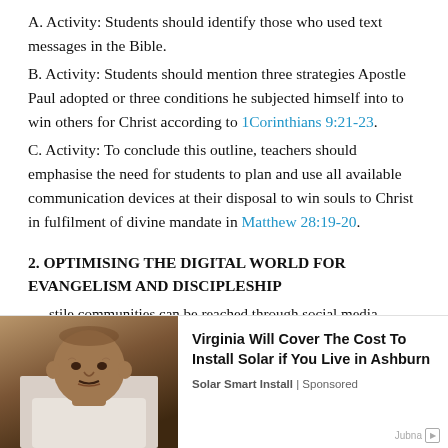A. Activity: Students should identify those who used text messages in the Bible.
B. Activity: Students should mention three strategies Apostle Paul adopted or three conditions he subjected himself into to win others for Christ according to 1Corinthians 9:21-23.
C. Activity: To conclude this outline, teachers should emphasise the need for students to plan and use all available communication devices at their disposal to win souls to Christ in fulfilment of divine mandate in Matthew 28:19-20.
2. OPTIMISING THE DIGITAL WORLD FOR EVANGELISM AND DISCIPLESHIP
...stile communities can be reached through social media
[Figure (photo): Photo of an older man looking serious, used in an advertisement for solar installation in Virginia.]
Virginia Will Cover The Cost To Install Solar if You Live in Ashburn
Solar Smart Install | Sponsored